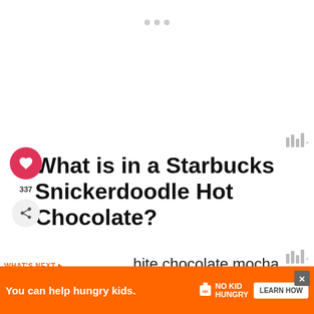[Figure (screenshot): Ad placeholder area at top with three dot indicators]
What is in a Starbucks Snickerdoodle Hot Chocolate?
...hite chocolate mocha sauce are steamed to make that velvety white hot chocolate. Cinnamon Dolce Syrup is mixed in to g...
[Figure (infographic): What's Next widget showing Chocolate Peanut Butt... with a circular food image thumbnail]
[Figure (infographic): Bottom banner ad: You can help hungry kids. No Kid Hungry. LEARN HOW button.]